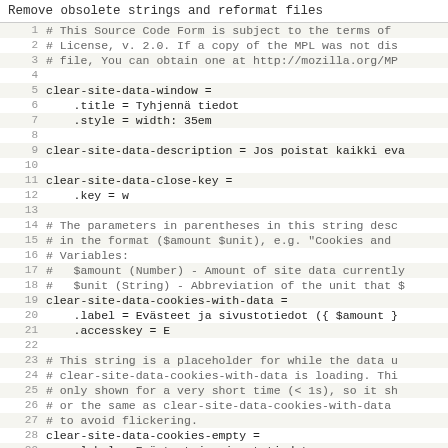Remove obsolete strings and reformat files
[Figure (screenshot): Source code viewer showing a localization file (.properties) with line numbers 1-29. The code contains Mozilla license header comments, and Firefox localization strings for clear-site-data functionality in Finnish language.]